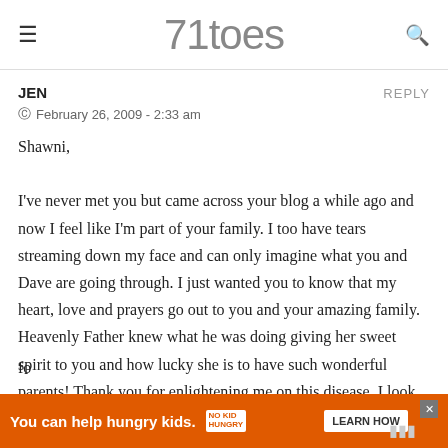71toes
JEN
REPLY
February 26, 2009 - 2:33 am
Shawni,

I've never met you but came across your blog a while ago and now I feel like I'm part of your family. I too have tears streaming down my face and can only imagine what you and Dave are going through. I just wanted you to know that my heart, love and prayers go out to you and your amazing family. Heavenly Father knew what he was doing giving her sweet spirit to you and how lucky she is to have such wonderful parents! Thank you for enlightening me on this disease, I look
[Figure (screenshot): Advertisement banner: orange background with 'You can help hungry kids.' text, No Kid Hungry logo, and LEARN HOW button]